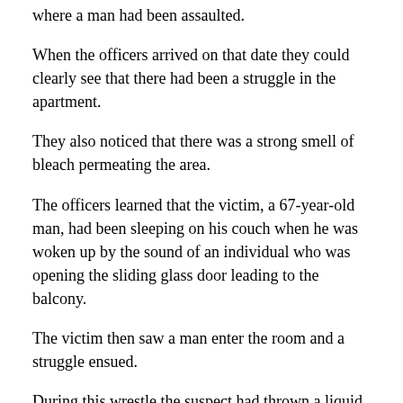where a man had been assaulted.
When the officers arrived on that date they could clearly see that there had been a struggle in the apartment.
They also noticed that there was a strong smell of bleach permeating the area.
The officers learned that the victim, a 67-year-old man, had been sleeping on his couch when he was woken up by the sound of an individual who was opening the sliding glass door leading to the balcony.
The victim then saw a man enter the room and a struggle ensued.
During this wrestle the suspect had thrown a liquid substance into the victim's face and all over his clothing.
The liquid turned out to be bleach (bleach can cause severe burning to the eyes). After a few minutes of struggling the victim had been able to escape and had ran